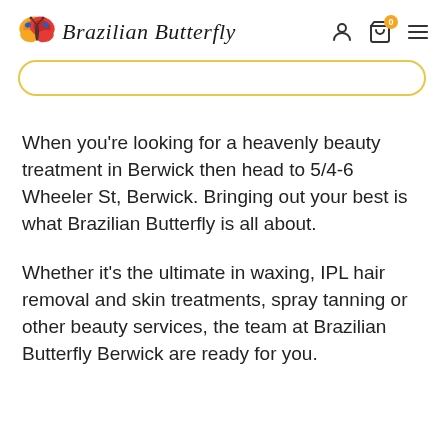[Figure (logo): Brazilian Butterfly logo with colorful butterfly icon and cursive brand name text]
When you're looking for a heavenly beauty treatment in Berwick then head to 5/4-6 Wheeler St, Berwick. Bringing out your best is what Brazilian Butterfly is all about.
Whether it's the ultimate in waxing, IPL hair removal and skin treatments, spray tanning or other beauty services, the team at Brazilian Butterfly Berwick are ready for you.